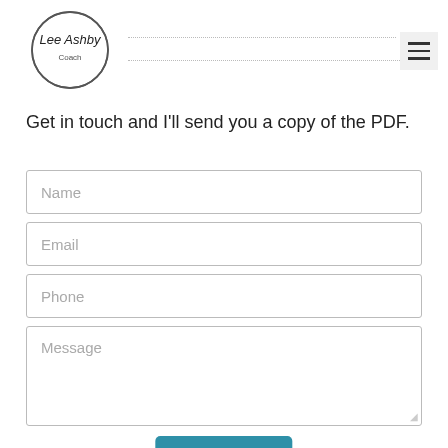[Figure (logo): Lee Ashby Coach logo — handwritten text inside a roughly-drawn circle]
Get in touch and I'll send you a copy of the PDF.
Name (input field placeholder)
Email (input field placeholder)
Phone (input field placeholder)
Message (textarea placeholder)
Send (button)